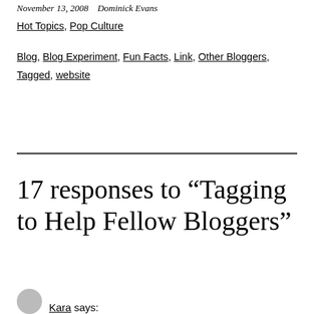November 13, 2008   Dominick Evans
Hot Topics, Pop Culture
Blog, Blog Experiment, Fun Facts, Link, Other Bloggers, Tagged, website
17 responses to “Tagging to Help Fellow Bloggers”
Kara says: